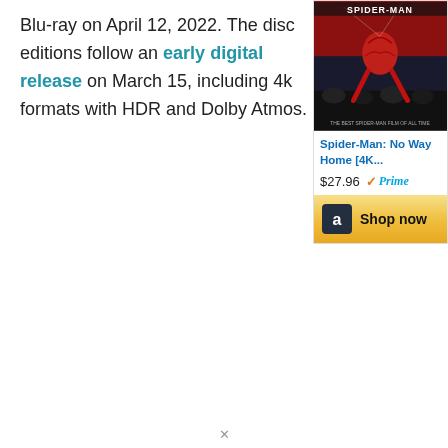Blu-ray on April 12, 2022. The disc editions follow an early digital release on March 15, including 4k formats with HDR and Dolby Atmos.
[Figure (photo): Spider-Man: No Way Home movie cover showing Spider-Man climbing, with red and dark background and 'SPIDER-MAN' text at top]
Spider-Man: No Way Home [4K...
$27.96  Prime
Shop now